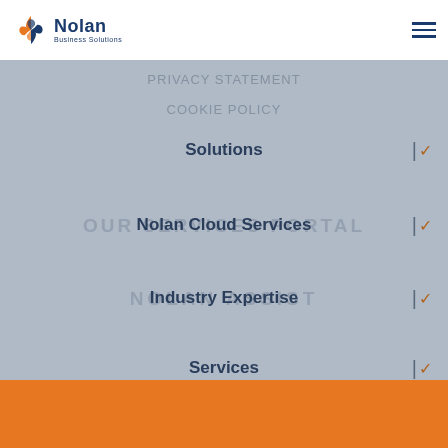[Figure (logo): Nolan Business Solutions logo with orange and blue pinwheel icon and company name]
Solutions
Nolan Cloud Services
Industry Expertise
Services
We use cookies to enhance your online browsing experience. By continuing to use this site, you agree to accept our use of cookies. Read our Privacy Statement to find out more.
OK